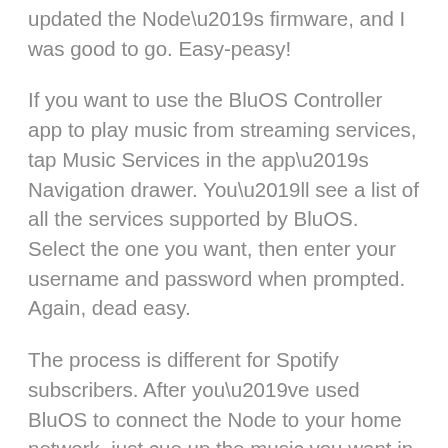updated the Node’s firmware, and I was good to go. Easy-peasy!
If you want to use the BluOS Controller app to play music from streaming services, tap Music Services in the app’s Navigation drawer. You’ll see a list of all the services supported by BluOS. Select the one you want, then enter your username and password when prompted. Again, dead easy.
The process is different for Spotify subscribers. After you’ve used BluOS to connect the Node to your home network, just cue up the music you want in the Spotify app and tap the Devices Available icon in the Now Playing screen, then choose the Node as your playback device. Tidal subscribers can use the Tidal client in the BluOS app. But they can also cue up music in the Tidal app, and then shift playback to the Node using Tidal Connect. iPhone and iPad users can stream music to the Node by tapping the AirPlay icon in the Now